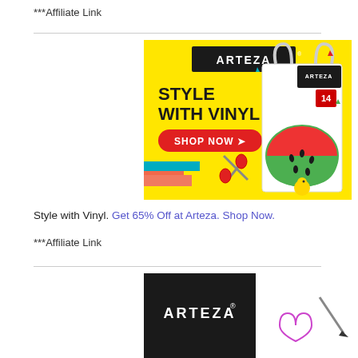***Affiliate Link
[Figure (illustration): Arteza advertisement banner: yellow background with 'STYLE WITH VINYL' text, red SHOP NOW button, scissors, colorful paper, and a tote bag with watermelon design]
Style with Vinyl. Get 65% Off at Arteza. Shop Now.
***Affiliate Link
[Figure (illustration): Arteza advertisement banner partial: black Arteza logo on white background with a heart doodle and pencil]